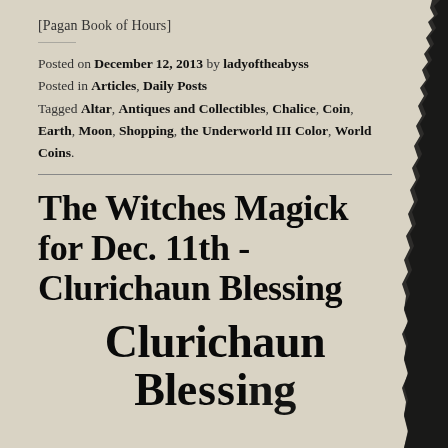[Pagan Book of Hours]
Posted on December 12, 2013 by ladyoftheabyss
Posted in Articles, Daily Posts
Tagged Altar, Antiques and Collectibles, Chalice, Coin, Earth, Moon, Shopping, the Underworld III Color, World Coins.
The Witches Magick for Dec. 11th - Clurichaun Blessing
Clurichaun Blessing